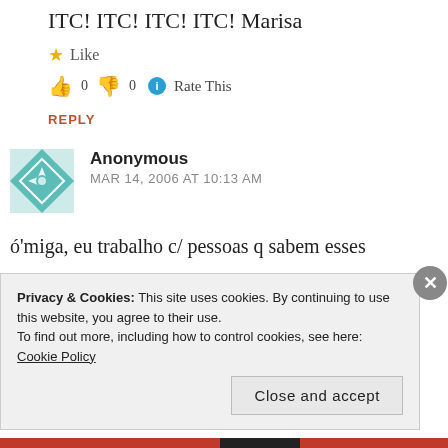ITC! ITC! ITC! ITC! Marisa
★ Like
👍 0  👎 0  ℹ Rate This
REPLY
[Figure (illustration): Teal and white geometric quilt-pattern avatar for Anonymous commenter]
Anonymous
MAR 14, 2006 AT 10:13 AM
ó'miga, eu trabalho c/ pessoas q sabem esses detalhes intímos sobre o siebel. há umas
Privacy & Cookies: This site uses cookies. By continuing to use this website, you agree to their use.
To find out more, including how to control cookies, see here: Cookie Policy
Close and accept